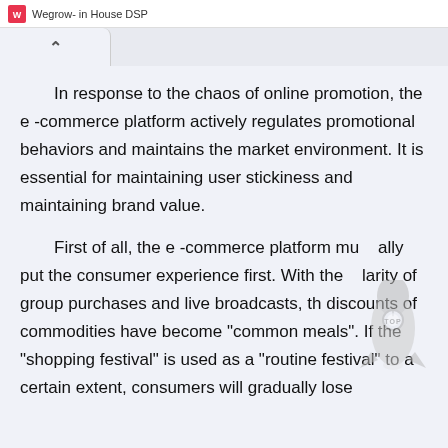Wegrow- in House DSP
In response to the chaos of online promotion, the e-commerce platform actively regulates promotional behaviors and maintains the market environment. It is essential for maintaining user stickiness and maintaining brand value.
First of all, the e-commerce platform must ally put the consumer experience first. With the popularity of group purchases and live broadcasts, the discounts of commodities have become "common meals". If the "shopping festival" is used as a "routine festival" to a certain extent, consumers will gradually lose